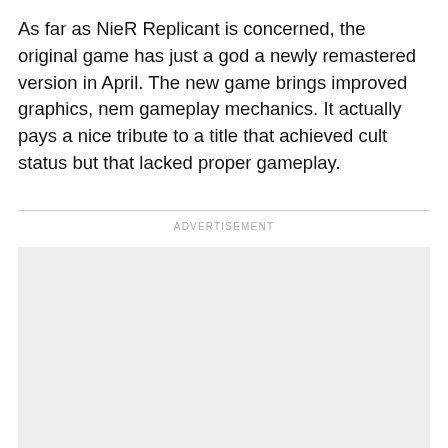As far as NieR Replicant is concerned, the original game has just a god a newly remastered version in April. The new game brings improved graphics, nem gameplay mechanics. It actually pays a nice tribute to a title that achieved cult status but that lacked proper gameplay.
ADVERTISEMENT
[Figure (other): Advertisement placeholder box with light grey background]